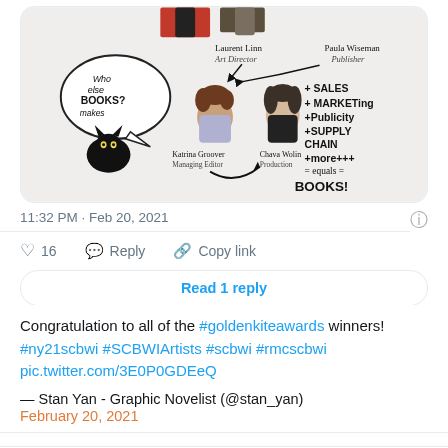[Figure (illustration): Hand-drawn illustration showing publishing team members: Laurent Linn (Art Director), Paula Wiseman (Publisher), Katrina Groover (Managing Editor), Chava Wolin (Production), plus a speech bubble asking 'Who else makes BOOKS?' with a black cat, and text listing + Sales + Marketing + Publicity + Supply Chain + more+++ = equals = BOOKS!]
11:32 PM · Feb 20, 2021
♡ 16   Reply   Copy link
Read 1 reply
Congratulation to all of the #goldenkiteawards winners! #ny21scbwi #SCBWIArtists #scbwi #rmcscbwi pic.twitter.com/3E0P0GDEeQ
— Stan Yan - Graphic Novelist (@stan_yan)
February 20, 2021